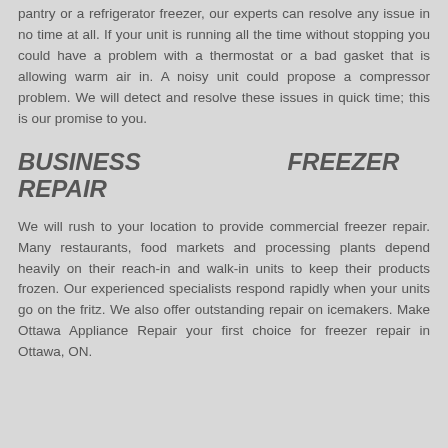pantry or a refrigerator freezer, our experts can resolve any issue in no time at all. If your unit is running all the time without stopping you could have a problem with a thermostat or a bad gasket that is allowing warm air in. A noisy unit could propose a compressor problem. We will detect and resolve these issues in quick time; this is our promise to you.
BUSINESS FREEZER REPAIR
We will rush to your location to provide commercial freezer repair. Many restaurants, food markets and processing plants depend heavily on their reach-in and walk-in units to keep their products frozen. Our experienced specialists respond rapidly when your units go on the fritz. We also offer outstanding repair on icemakers. Make Ottawa Appliance Repair your first choice for freezer repair in Ottawa, ON.